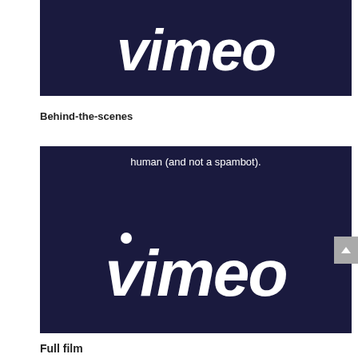[Figure (screenshot): Vimeo logo on dark navy background, top portion visible]
Behind-the-scenes
[Figure (screenshot): Vimeo CAPTCHA verification screen showing text 'human (and not a spambot).' and Vimeo logo on dark navy background]
Full film